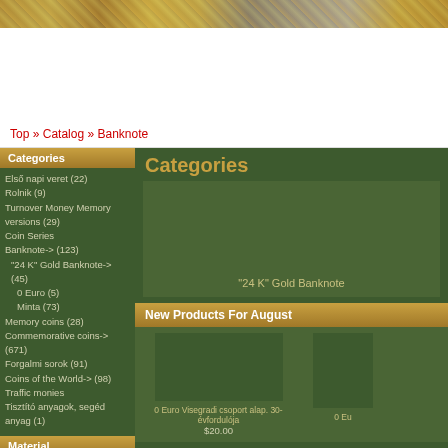[Figure (photo): Decorative coin header image strip showing gold and silver coins]
Top » Catalog » Banknote
Categories
Első napi veret (22)
Rolnik (9)
Turnover Money Memory versions (29)
Coin Series
Banknote-> (123)
"24 K" Gold Banknote-> (45)
0 Euro (5)
Minta (73)
Memory coins (28)
Commemorative coins-> (671)
Forgalmi sorok (91)
Coins of the World-> (98)
Traffic monies
Tisztító anyagok, segéd anyag (1)
Material
Silver
Gold
Value:
Please Select
Categories
"24 K" Gold Banknote
New Products For August
0 Euro Visegradi csoport alap. 30-évfordulója $20.00
0 Eu